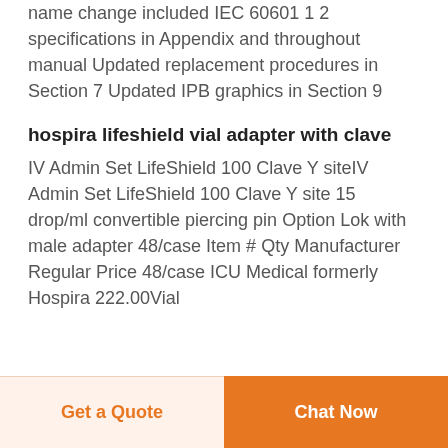name change included IEC 60601 1 2 specifications in Appendix and throughout manual Updated replacement procedures in Section 7 Updated IPB graphics in Section 9
hospira lifeshield vial adapter with clave
IV Admin Set LifeShield 100 Clave Y siteIV Admin Set LifeShield 100 Clave Y site 15 drop/ml convertible piercing pin Option Lok with male adapter 48/case Item # Qty Manufacturer Regular Price 48/case ICU Medical formerly Hospira 222.00Vial
Get a Quote
Chat Now